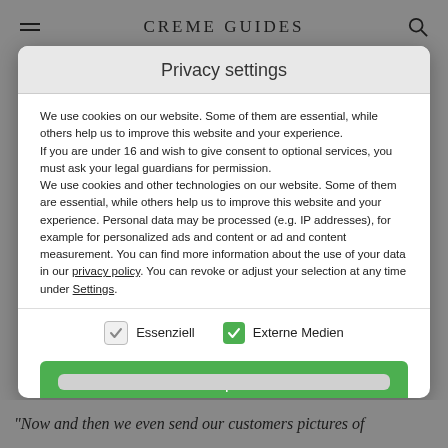CREME GUIDES
Privacy settings
We use cookies on our website. Some of them are essential, while others help us to improve this website and your experience.
If you are under 16 and wish to give consent to optional services, you must ask your legal guardians for permission.
We use cookies and other technologies on our website. Some of them are essential, while others help us to improve this website and your experience. Personal data may be processed (e.g. IP addresses), for example for personalized ads and content or ad and content measurement. You can find more information about the use of your data in our privacy policy. You can revoke or adjust your selection at any time under Settings.
Essenziell
Externe Medien
Accept all
"Now and then we even send our customers pictures of